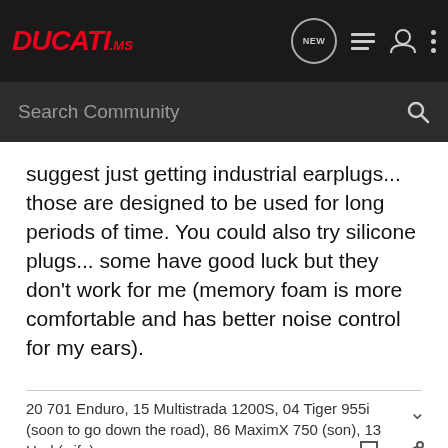DUCATI.ms
suggest just getting industrial earplugs... those are designed to be used for long periods of time. You could also try silicone plugs... some have good luck but they don't work for me (memory foam is more comfortable and has better noise control for my ears).
20 701 Enduro, 15 Multistrada 1200S, 04 Tiger 955i (soon to go down the road), 86 MaximX 750 (son), 13 Ural (wife)
Gadgetech · Hammer Down 🇺🇸
2020 Multistrada 1260 S Touring
Joined Mar 4, 2012 · 2,105 Posts